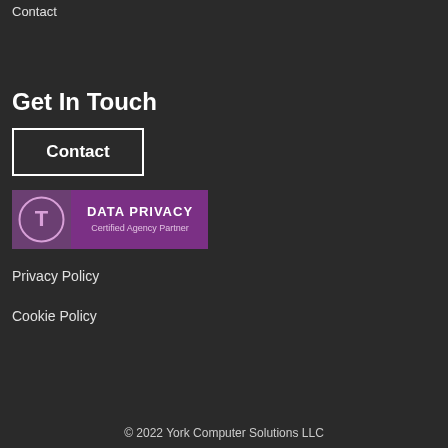Contact
Get In Touch
Contact
[Figure (logo): Data Privacy Certified Agency Partner badge — purple rectangle with a T-logo icon on the left and 'DATA PRIVACY Certified Agency Partner' text on the right]
Privacy Policy
Cookie Policy
© 2022 York Computer Solutions LLC